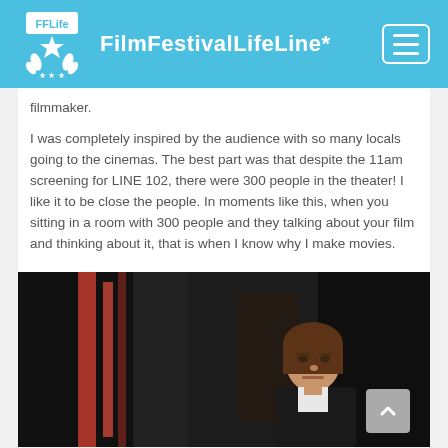FilmFestivalLifeLine*
filmmaker.
I was completely inspired by the audience with so many locals going to the cinemas. The best part was that despite the 11am screening for LINE 102, there were 300 people in the theater! I like it to be close the people. In moments like this, when you sitting in a room with 300 people and they talking about your film and thinking about it, that is when I know why I make movies.
[Figure (photo): A woman with brown hair wearing a black jacket and white shirt, standing in a dark interior space with red elements visible in the background — appears to be a film still.]